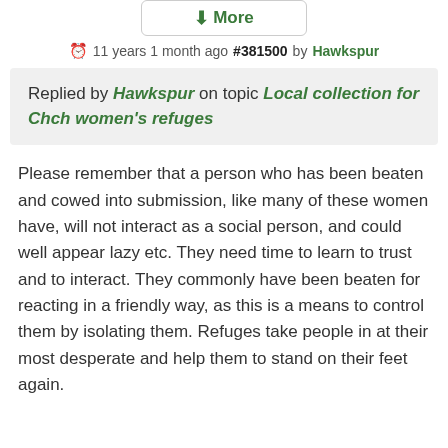[Figure (other): A button labeled 'More' with a downward arrow icon, styled with a border and rounded corners]
11 years 1 month ago #381500 by Hawkspur
Replied by Hawkspur on topic Local collection for Chch women's refuges
Please remember that a person who has been beaten and cowed into submission, like many of these women have, will not interact as a social person, and could well appear lazy etc. They need time to learn to trust and to interact. They commonly have been beaten for reacting in a friendly way, as this is a means to control them by isolating them. Refuges take people in at their most desperate and help them to stand on their feet again.